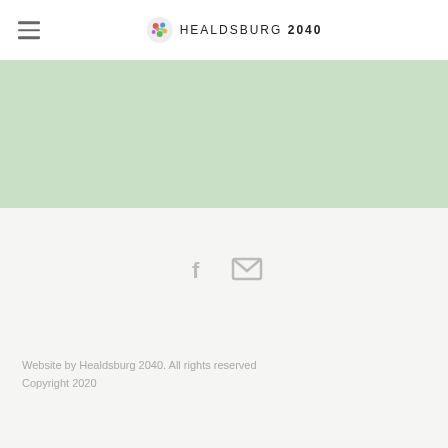HEALDSBURG 2040
[Figure (illustration): Light green/sage colored horizontal band spanning full width]
[Figure (infographic): Social media icons: Facebook (f) and Mail (envelope) in gray, centered on the page]
Website by Healdsburg 2040. All rights reserved
Copyright 2020